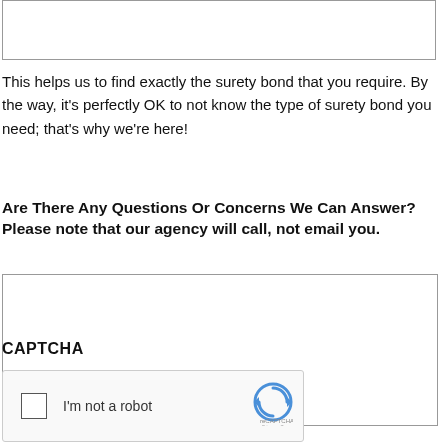[Figure (other): Text input field (top of page, partially visible)]
This helps us to find exactly the surety bond that you require. By the way, it's perfectly OK to not know the type of surety bond you need; that's why we're here!
Are There Any Questions Or Concerns We Can Answer? Please note that our agency will call, not email you.
[Figure (other): Large text area input box for questions/concerns]
CAPTCHA
[Figure (other): reCAPTCHA widget with checkbox and 'I'm not a robot' text and reCAPTCHA logo]